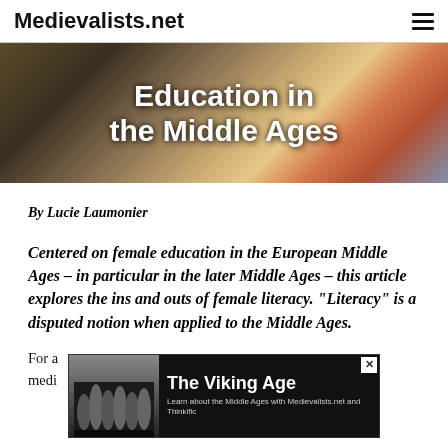Medievalists.net
[Figure (illustration): Medieval manuscript illustration with 'Education in the Middle Ages' text overlay on decorative golden and blue background with a figure reading]
By Lucie Laumonier
Centered on female education in the European Middle Ages – in particular in the later Middle Ages – this article explores the ins and outs of female literacy. “Literacy” is a disputed notion when applied to the Middle Ages.
For a ... y medi... ith
[Figure (advertisement): The Viking Age advertisement banner - Learn about the Middle Ages with Medievalists.net and Thinkific]